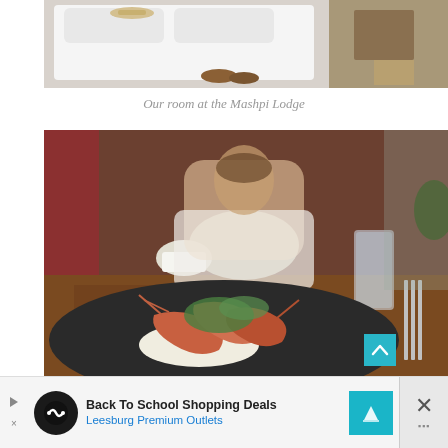[Figure (photo): Hotel room at Mashpi Lodge viewed from above, showing a white bed with pillows, wooden floor with shoes, and furniture]
Our room at the Mashpi Lodge
[Figure (photo): Man eating at a restaurant table with a close-up of a black plate with shrimp/prawns on rice with herb sauce in the foreground]
Back To School Shopping Deals
Leesburg Premium Outlets